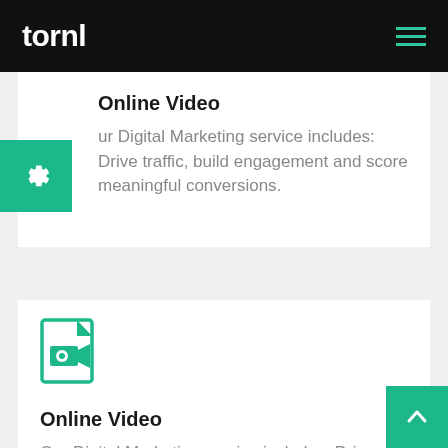tornl
Online Video
Our Digital Marketing service includes: Drive traffic, build engagement and score meaningful conversions.
[Figure (illustration): Green gear/settings icon on green square badge]
[Figure (illustration): Teal/green video file icon — document outline with film camera icon inside]
Online Video
Our Digital Marketing service includes: Drive traffic, build engagement and score meaningful conversio